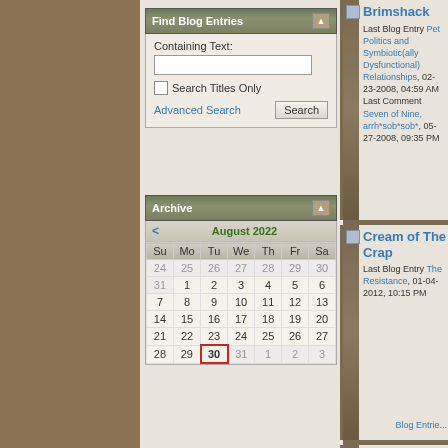Find Blog Entries
Containing Text:
Search Titles Only
Advanced Search
Archive
| Su | Mo | Tu | We | Th | Fr | Sa |
| --- | --- | --- | --- | --- | --- | --- |
| 24 | 25 | 26 | 27 | 28 | 29 | 30 |
| 31 | 1 | 2 | 3 | 4 | 5 | 6 |
| 7 | 8 | 9 | 10 | 11 | 12 | 13 |
| 14 | 15 | 16 | 17 | 18 | 19 | 20 |
| 21 | 22 | 23 | 24 | 25 | 26 | 27 |
| 28 | 29 | 30 | 31 | 1 | 2 | 3 |
Brimshack
Last Blog Entry Pet Politics and Symbiotic(ally Dysfunctional) Relationships, 02-23-2008, 04:59 AM Last Comment Seven of Nine, arrh*sob*sob*, 05-27-2008, 09:35 PM
Blog Entri...
Cream of The Crap
Last Blog Entry The Resistance, 01-04-2012, 10:15 PM
Blog Entrie...
Soubrette
Last Blog Entry The things we do for love.... 07-20-2008,